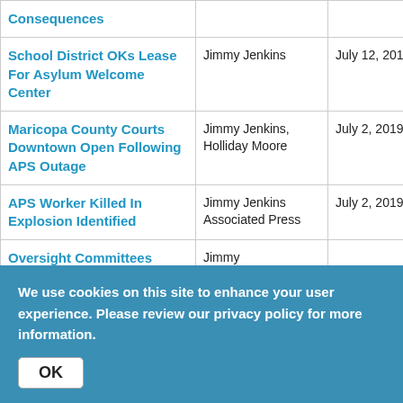| Article Title | Author | Date |
| --- | --- | --- |
| Consequences |  |  |
| School District OKs Lease For Asylum Welcome Center | Jimmy Jenkins | July 12, 2019 |
| Maricopa County Courts Downtown Open Following APS Outage | Jimmy Jenkins, Holliday Moore | July 2, 2019 |
| APS Worker Killed In Explosion Identified | Jimmy Jenkins Associated Press | July 2, 2019 |
| Oversight Committees | Jimmy |  |
We use cookies on this site to enhance your user experience. Please review our privacy policy for more information.